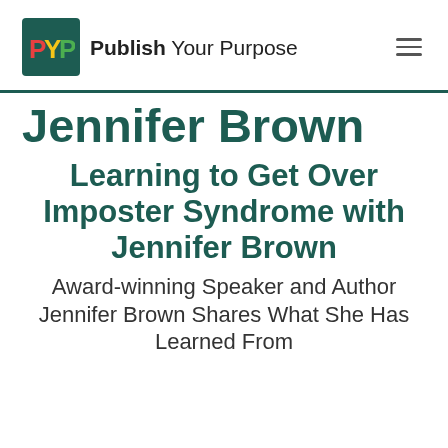[Figure (logo): Publish Your Purpose logo with teal square containing PYP letters in red, yellow, green colors, and text 'Publish Your Purpose' beside it]
Jennifer Brown
Learning to Get Over Imposter Syndrome with Jennifer Brown
Award-winning Speaker and Author Jennifer Brown Shares What She Has Learned From